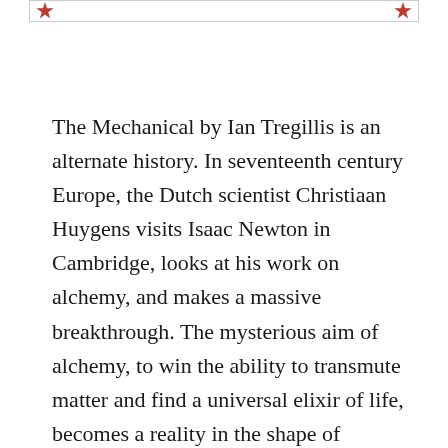The Mechanical by Ian Tregillis is an alternate history. In seventeenth century Europe, the Dutch scientist Christiaan Huygens visits Isaac Newton in Cambridge, looks at his work on alchemy, and makes a massive breakthrough. The mysterious aim of alchemy, to win the ability to transmute matter and find a universal elixir of life, becomes a reality in the shape of clockwork robots imbued with the self-aware force of life.  To maintain control of this technology, Dutch clockmakers imbue their creations with a ferocious sense of obligation that demands absolute obedience through